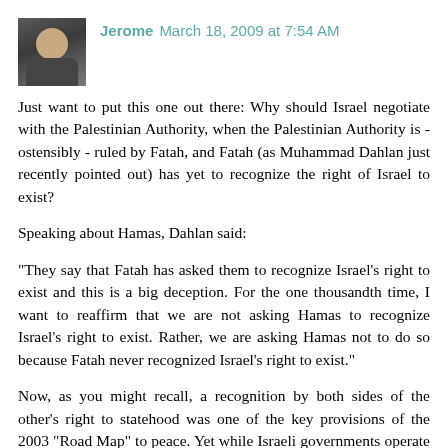[Figure (photo): Small avatar photo of a person (Jerome), showing a man's face and upper torso with dark background]
Jerome March 18, 2009 at 7:54 AM
Just want to put this one out there: Why should Israel negotiate with the Palestinian Authority, when the Palestinian Authority is - ostensibly - ruled by Fatah, and Fatah (as Muhammad Dahlan just recently pointed out) has yet to recognize the right of Israel to exist?
Speaking about Hamas, Dahlan said:
"They say that Fatah has asked them to recognize Israel's right to exist and this is a big deception. For the one thousandth time, I want to reaffirm that we are not asking Hamas to recognize Israel's right to exist. Rather, we are asking Hamas not to do so because Fatah never recognized Israel's right to exist."
Now, as you might recall, a recognition by both sides of the other's right to statehood was one of the key provisions of the 2003 "Road Map" to peace. Yet while Israeli governments operate and interact with the Palestinian